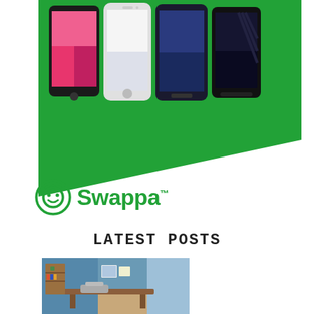[Figure (illustration): Green triangular banner shape with four smartphones displayed at the top against a green background. The green shape tapers to a point toward the lower right.]
[Figure (logo): Swappa logo: green circular icon with a smiley-like face and the word Swappa in green bold text]
LATEST POSTS
[Figure (photo): Photo of a home office/desk setup against a blue wall with shelving and artwork]